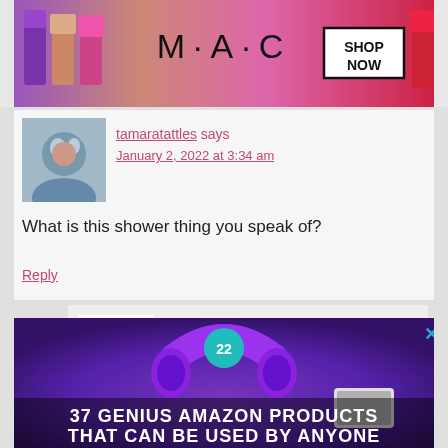[Figure (screenshot): MAC Cosmetics advertisement banner showing lipsticks with MAC logo and SHOP NOW button]
tamaratattles says
January 2, 2022 at 3:34 am
What is this shower thing you speak of?
Reply
belladonna says
January 2, 2022 at 5:16 am
I hope you don't get notices like I
[Figure (screenshot): Advertisement showing purple headphones and text: 37 GENIUS AMAZON PRODUCTS THAT CAN BE USED BY ANYONE, with CLOSE button and X icon]